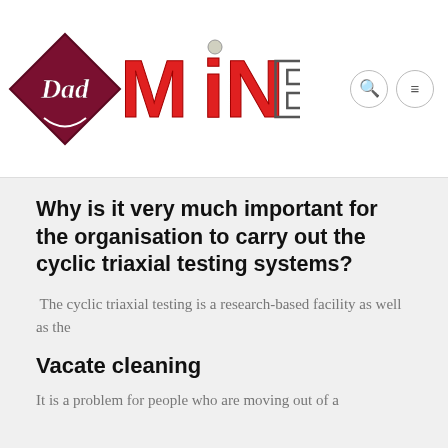[Figure (logo): DadMine website logo with diamond shape on left and bold red MINE text with a figure icon]
Why is it very much important for the organisation to carry out the cyclic triaxial testing systems?
The cyclic triaxial testing is a research-based facility as well as the
Vacate cleaning
It is a problem for people who are moving out of a